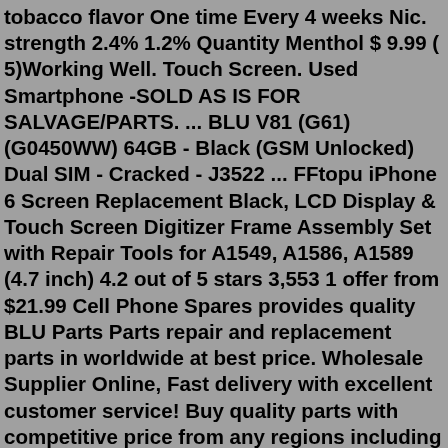tobacco flavor One time Every 4 weeks Nic. strength 2.4% 1.2% Quantity Menthol $ 9.99 ( 5)Working Well. Touch Screen. Used Smartphone -SOLD AS IS FOR SALVAGE/PARTS. ... BLU V81 (G61) (G0450WW) 64GB - Black (GSM Unlocked) Dual SIM - Cracked - J3522 ... FFtopu iPhone 6 Screen Replacement Black, LCD Display & Touch Screen Digitizer Frame Assembly Set with Repair Tools for A1549, A1586, A1589 (4.7 inch) 4.2 out of 5 stars 3,553 1 offer from $21.99 Cell Phone Spares provides quality BLU Parts Parts repair and replacement parts in worldwide at best price. Wholesale Supplier Online, Fast delivery with excellent customer service! Buy quality parts with competitive price from any regions including USA, UK, Russia, India, Canada, Australia, and few European countries. Find the Top Blu Phones with the MSN Buying Guides >> Compare Products and Brands by Quality, Popularity and Pricing >> Updated 2022 4 Best Blu Phones of 2022 | MSN Guide: Top Brands, Reviews & PricesPaired with 4GB of RAM, you can run multiple